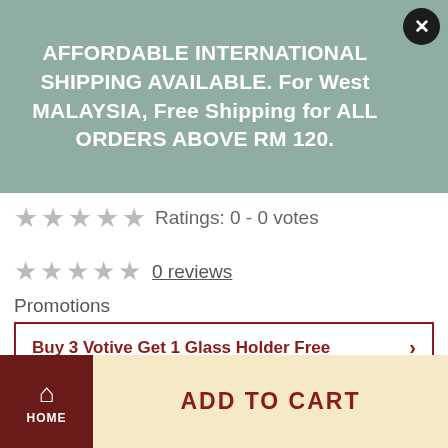AFFORDABLE INTERNATIONAL SHIPPING AVAILABLE. For West MALAYSIA, Free Shipping for ALL ORDERS ABOVE RM 120.
Ratings: 0 - 0 votes
0 reviews
Promotions
Buy 3 Votive Get 1 Glass Holder Free
Quantity 1
Hey Candlenista! Add RM 120 more to get FREE SHIPPING
HOME
ADD TO CART